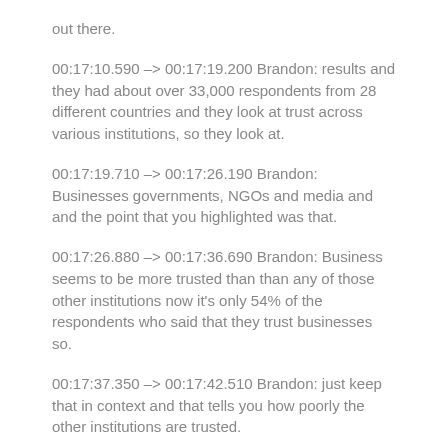out there.
00:17:10.590 –> 00:17:19.200 Brandon: results and they had about over 33,000 respondents from 28 different countries and they look at trust across various institutions, so they look at.
00:17:19.710 –> 00:17:26.190 Brandon: Businesses governments, NGOs and media and and the point that you highlighted was that.
00:17:26.880 –> 00:17:36.690 Brandon: Business seems to be more trusted than than any of those other institutions now it's only 54% of the respondents who said that they trust businesses so.
00:17:37.350 –> 00:17:42.510 Brandon: just keep that in context and that tells you how poorly the other institutions are trusted.